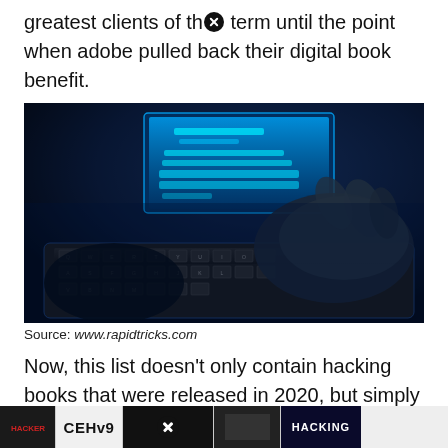greatest clients of thⓧ term until the point when adobe pulled back their digital book benefit.
[Figure (photo): A person wearing dark gloves typing on a backlit keyboard in a dark blue-lit environment, with a bright computer monitor screen visible in the background.]
Source: www.rapidtricks.com
Now, this list doesn't only contain hacking books that were released in 2020, but simply all the books worth mentioning as of this year. There are many important topics for beginners to understand.
[Figure (photo): A strip of book cover thumbnails at the bottom of the page including CEHv9 and HACKING titles.]